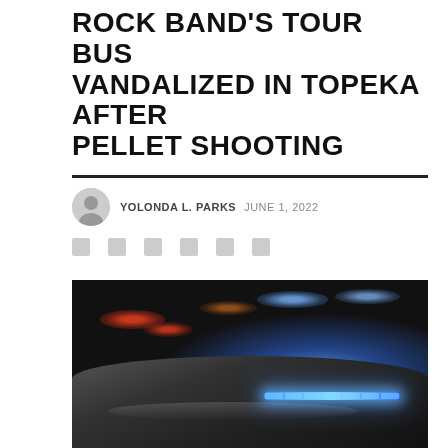ROCK BAND'S TOUR BUS VANDALIZED IN TOPEKA AFTER PELLET SHOOTING
YOLONDA L. PARKS  JUNE 1, 2022
[Figure (photo): Police car with blue emergency lights on top, red and blue lights blurred in background at night scene]